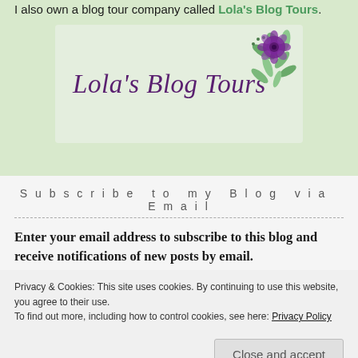lolabookreviews(at)gmail(dot)com
I also own a blog tour company called Lola's Blog Tours.
[Figure (logo): Lola's Blog Tours logo with script text and floral decoration (purple flower with green leaves)]
Subscribe to my Blog via Email
Enter your email address to subscribe to this blog and receive notifications of new posts by email.
Privacy & Cookies: This site uses cookies. By continuing to use this website, you agree to their use.
To find out more, including how to control cookies, see here: Privacy Policy
Close and accept